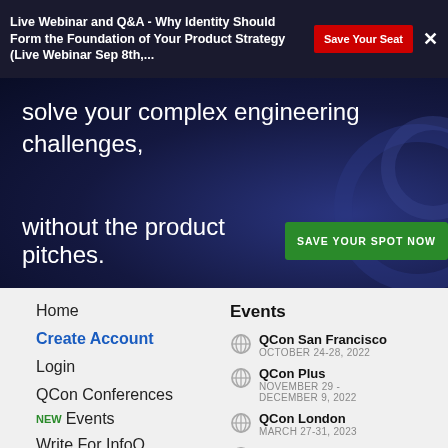Live Webinar and Q&A - Why Identity Should Form the Foundation of Your Product Strategy (Live Webinar Sep 8th,...
[Figure (screenshot): Dark blue hero banner with text about solving complex engineering challenges without product pitches, and a green CTA button 'SAVE YOUR SPOT NOW']
Home
Create Account
Login
QCon Conferences
Events NEW
Write For InfoQ
InfoQ Editors
About InfoQ
Events
QCon San Francisco
OCTOBER 24-28, 2022
QCon Plus
NOVEMBER 29 - DECEMBER 9, 2022
QCon London
MARCH 27-31, 2023
QCon San Francisco
OCTOBER 2-6, 2023